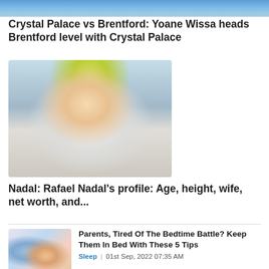[Figure (photo): Top banner sports image strip]
Crystal Palace vs Brentford: Yoane Wissa heads Brentford level with Crystal Palace
[Figure (photo): Photo of Rafael Nadal wearing a yellow cap and white Nike shirt]
Nadal: Rafael Nadal's profile: Age, height, wife, net worth, and...
[Figure (photo): Small thumbnail of parent and child at a bedtime scene]
Parents, Tired Of The Bedtime Battle? Keep Them In Bed With These 5 Tips
Sleep  |  01st Sep, 2022 07:35 AM
[Figure (photo): Small thumbnail of a couple in a therapy/conversation setting]
24 Defense Mechanisms We Use In Relationships, According to Therapists
Stress  |  01st Sep, 2022 01:05 AM